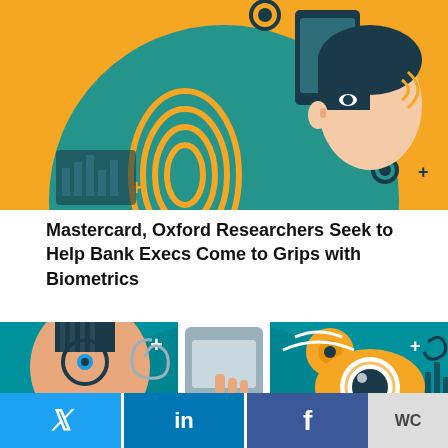[Figure (illustration): Colorful flat illustration depicting biometrics/technology: fingerprint, gear, person's face profile, hand touching a screen, orange and teal color scheme]
Mastercard, Oxford Researchers Seek to Help Bank Execs Come to Grips with Biometrics
[Figure (illustration): Colorful flat illustration depicting biometrics: stylized face with eye, smartphone with fingerprint sensor, large eye with spiral iris, gear, wifi signal, teal and orange color scheme]
Twitter LinkedIn Facebook WC